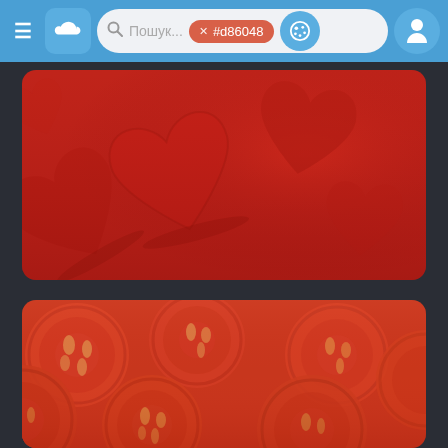[Figure (screenshot): Mobile/web app navigation bar with hamburger menu, cloud icon button, search bar with color filter tag #d86048, palette icon, and user profile icon. Blue background (#4a9fd4).]
[Figure (photo): Red heart shapes on a red background, decorative paper/craft hearts for Valentine's Day theme.]
[Figure (photo): Sliced tomatoes arranged in an overlapping pattern, close-up macro photograph showing red tomato cross-sections.]